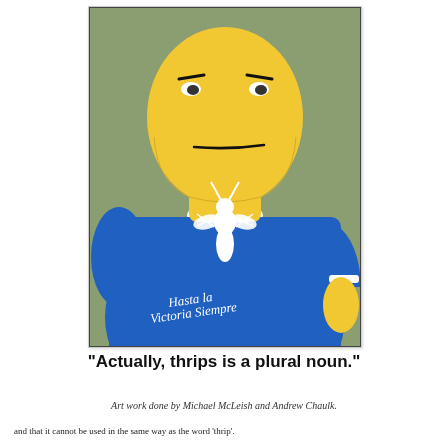[Figure (illustration): Cartoon illustration of a heavyset yellow-skinned man wearing a blue t-shirt with a white ant/thrips insect graphic and the text 'Hasta la Victoria Siempre' on the shirt. The figure has a stern expression. Background is sage green.]
"Actually, thrips is a plural noun."
Art work done by Michael McLeish and Andrew Chaulk.
and that it cannot be used in the same way as the word 'thrip'.